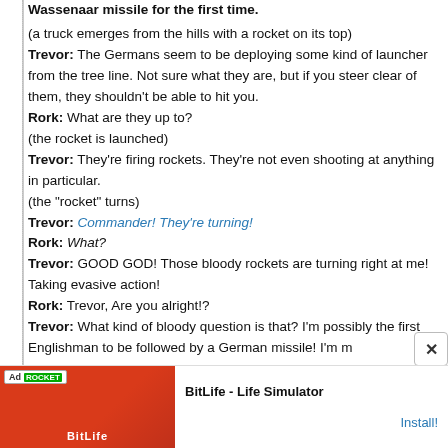Wassenaar missile for the first time. (clipped)
(a truck emerges from the hills with a rocket on its top)
Trevor: The Germans seem to be deploying some kind of launcher from the tree line. Not sure what they are, but if you steer clear of them, they shouldn't be able to hit you.
Rork: What are they up to?
(the rocket is launched)
Trevor: They're firing rockets. They're not even shooting at anything in particular.
(the "rocket" turns)
Trevor: Commander! They're turning!
Rork: What?
Trevor: GOOD GOD! Those bloody rockets are turning right at me! Taking evasive action!
Rork: Trevor, Are you alright!?
Trevor: What kind of bloody question is that? I'm possibly the first Englishman to be followed by a German missile! I'm m (clipped)
[Figure (screenshot): Advertisement banner for BitLife - Life Simulator app with red background on left and install button on right]